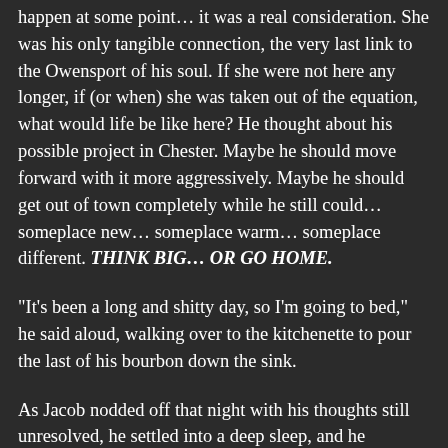happen at some point… it was a real consideration. She was his only tangible connection, the very last link to the Owensport of his soul. If she were not here any longer, if (or when) she was taken out of the equation, what would life be like here? He thought about his possible project in Chester. Maybe he should move forward with it more aggressively. Maybe he should get out of town completely while he still could… someplace new… someplace warm… someplace different. THINK BIG… OR GO HOME.
“It's been a long and shitty day, so I'm going to bed,” he said aloud, walking over to the kitchenette to pour the last of his bourbon down the sink.
As Jacob nodded off that night with his thoughts still unresolved, he settled into a deep sleep, and he dreamed. The ghosts of Mrs. Spence and all the friends